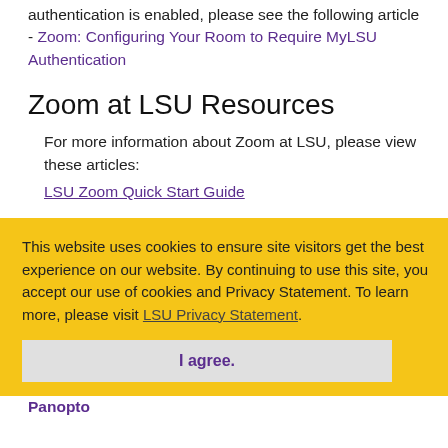authentication is enabled, please see the following article - Zoom: Configuring Your Room to Require MyLSU Authentication
Zoom at LSU Resources
For more information about Zoom at LSU, please view these articles:
LSU Zoom Quick Start Guide
Office 365 Zoom Plugin
How to Transfer Zoom Recordings into Panopto
This website uses cookies to ensure site visitors get the best experience on our website. By continuing to use this site, you accept our use of cookies and Privacy Statement. To learn more, please visit LSU Privacy Statement.